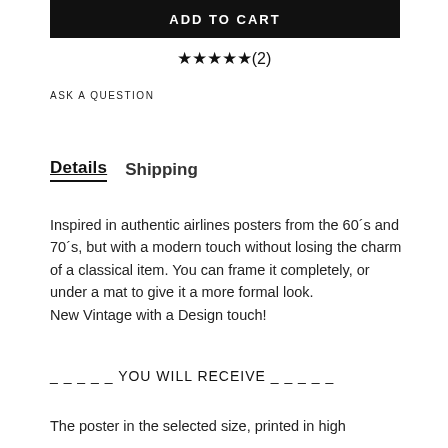[Figure (other): Add to Cart button bar (black background, white text)]
★★★★★(2)
ASK A QUESTION
Details   Shipping
Inspired in authentic airlines posters from the 60´s and 70´s, but with a modern touch without losing the charm of a classical item. You can frame it completely, or under a mat to give it a more formal look.
New Vintage with a Design touch!
_ _ _ _ _ YOU WILL RECEIVE _ _ _ _ _
The poster in the selected size, printed in high